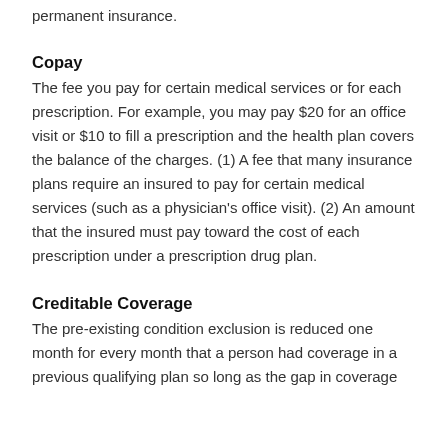permanent insurance.
Copay
The fee you pay for certain medical services or for each prescription. For example, you may pay $20 for an office visit or $10 to fill a prescription and the health plan covers the balance of the charges. (1) A fee that many insurance plans require an insured to pay for certain medical services (such as a physician's office visit). (2) An amount that the insured must pay toward the cost of each prescription under a prescription drug plan.
Creditable Coverage
The pre-existing condition exclusion is reduced one month for every month that a person had coverage in a previous qualifying plan so long as the gap in coverage